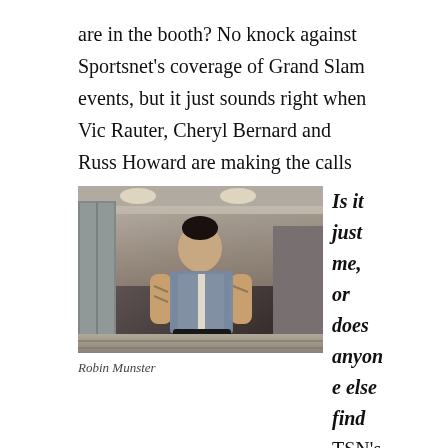are in the booth? No knock against Sportsnet's coverage of Grand Slam events, but it just sounds right when Vic Rauter, Cheryl Bernard and Russ Howard are making the calls on TSN.
[Figure (photo): Photo of a tattooed man in a denim vest standing in what appears to be a hotel lobby or similar venue, looking at the camera.]
Robin Munster
Is it just me, or does anyone else find TSN's UFC